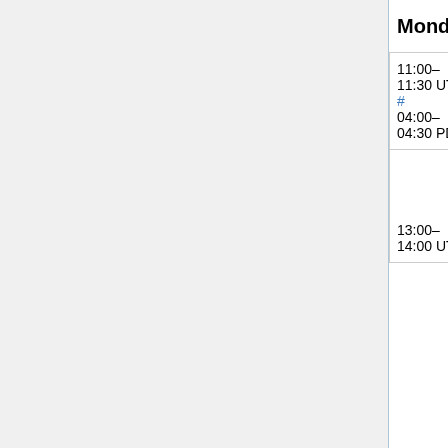Monday, June 11
| Time | Topic | Presenter |
| --- | --- | --- |
| 11:00–11:30 UTC
#
04:00–04:30 PDT | Wikimedia Portals Update | Jan Drewniak (jan_drewnia... |
| 13:00–14:00 UTC | European Mid-day | addshore, An... (hashar), Bra... (anomie), Kati... (aude), Max (MaxSem), Muk... (twentyafter... |